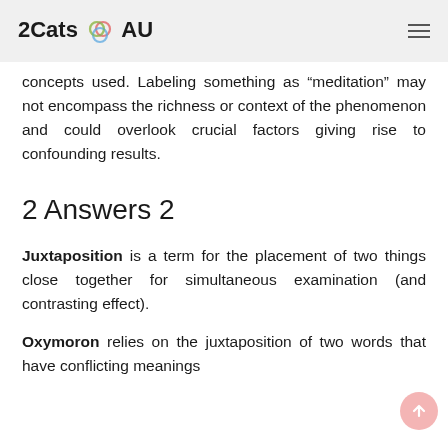2Cats AU
concepts used. Labeling something as “meditation” may not encompass the richness or context of the phenomenon and could overlook crucial factors giving rise to confounding results.
2 Answers 2
Juxtaposition is a term for the placement of two things close together for simultaneous examination (and contrasting effect).
Oxymoron relies on the juxtaposition of two words that have conflicting meanings